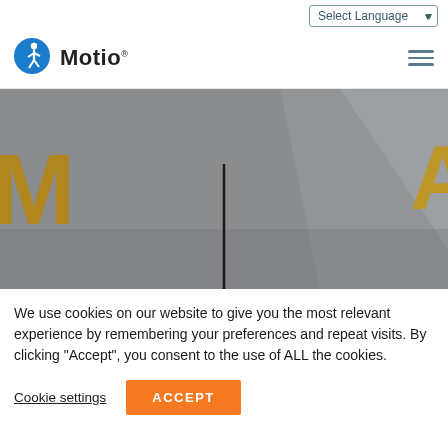Select Language
[Figure (logo): Motio logo with blue walking figure icon and 'Motio' text with registered trademark symbol]
[Figure (photo): Hero banner image with gray background, stylized letter M in bronze/gold on left, decorative geometric shapes and vertical dark line in center, another letter visible on far right edge]
We use cookies on our website to give you the most relevant experience by remembering your preferences and repeat visits. By clicking “Accept”, you consent to the use of ALL the cookies.
Cookie settings  ACCEPT